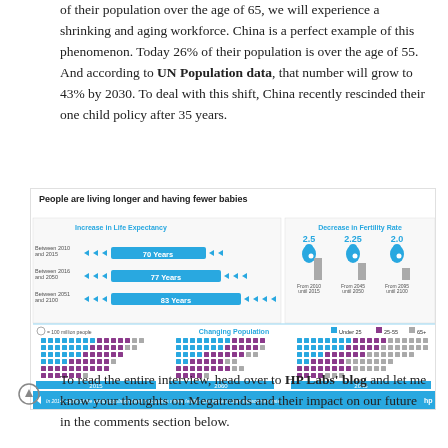of their population over the age of 65, we will experience a shrinking and aging workforce. China is a perfect example of this phenomenon. Today 26% of their population is over the age of 55. And according to UN Population data, that number will grow to 43% by 2030. To deal with this shift, China recently rescinded their one child policy after 35 years.
[Figure (infographic): Infographic titled 'People are living longer and having fewer babies'. Left panel shows Increase in Life Expectancy: Between 2010 and 2015: 70 Years; Between 2016 and 2050: 77 Years; Between 2051 and 2100: 83 Years. Right panel shows Decrease in Fertility Rate with figures at 2.5 (From 2010 until 2015), 2.25 (From 2045 until 2050), and 2.0 (From 2095 until 2100). Bottom section shows Changing Population dot grids for 2015, 2060, and 2045 with color coding for Under 25, 25-55, and 65+. Caption: In 2014, ~60% of the world population lived in countries where fertility rate was less than replacement rate.]
To read the entire interview, head over to HP Labs' blog and let me know your thoughts on Megatrends and their impact on our future in the comments section below.